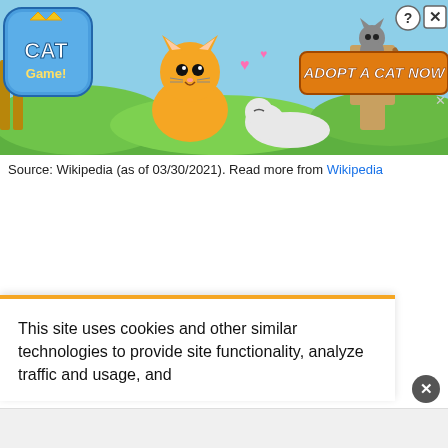[Figure (screenshot): Animated cat game advertisement banner showing cartoon cats, a cat game logo on the left, 'ADOPT A CAT NOW' orange button on the right, sky and hill background, with help (?) and close (X) icons in the top-right corner and a small X below the button.]
Source: Wikipedia (as of 03/30/2021). Read more from Wikipedia
This site uses cookies and other similar technologies to provide site functionality, analyze traffic and usage, and